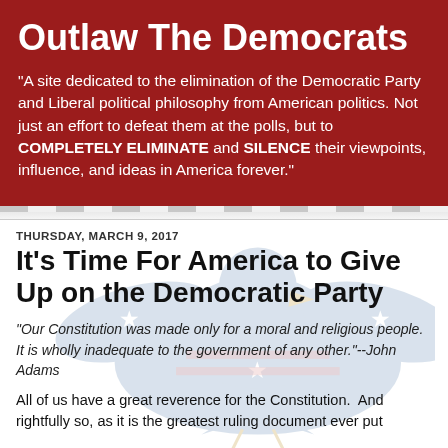Outlaw The Democrats
"A site dedicated to the elimination of the Democratic Party and Liberal political philosophy from American politics. Not just an effort to defeat them at the polls, but to COMPLETELY ELIMINATE and SILENCE their viewpoints, influence, and ideas in America forever."
THURSDAY, MARCH 9, 2017
It's Time For America to Give Up on the Democratic Party
"Our Constitution was made only for a moral and religious people.  It is wholly inadequate to the government of any other."--John Adams
All of us have a great reverence for the Constitution.  And rightfully so, as it is the greatest ruling document ever put